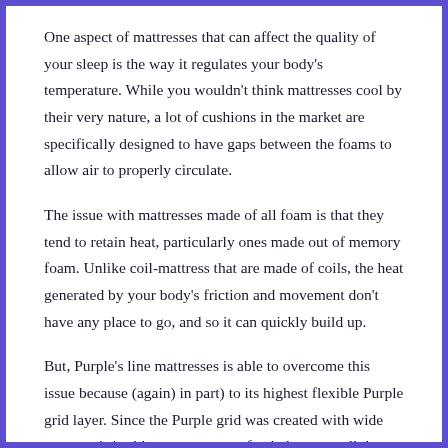One aspect of mattresses that can affect the quality of your sleep is the way it regulates your body's temperature. While you wouldn't think mattresses cool by their very nature, a lot of cushions in the market are specifically designed to have gaps between the foams to allow air to properly circulate.
The issue with mattresses made of all foam is that they tend to retain heat, particularly ones made out of memory foam. Unlike coil-mattress that are made of coils, the heat generated by your body's friction and movement don't have any place to go, and so it can quickly build up.
But, Purple's line mattresses is able to overcome this issue because (again) in part) to its highest flexible Purple grid layer. Since the Purple grid was created with wide spaces, air is able to move more freely between all the foam layers. This eliminates the annoying trapped heat issue that many